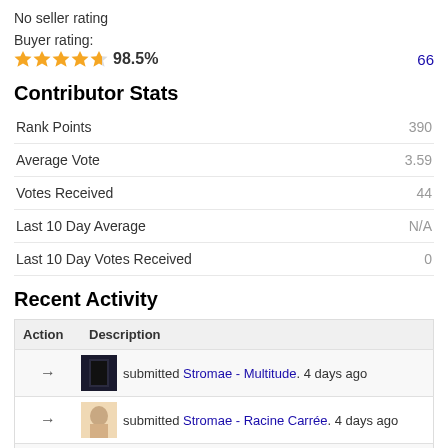No seller rating
Buyer rating:
98.5%   66
Contributor Stats
|  |  |
| --- | --- |
| Rank Points | 390 |
| Average Vote | 3.59 |
| Votes Received | 44 |
| Last 10 Day Average | N/A |
| Last 10 Day Votes Received | 0 |
Recent Activity
| Action | Description |
| --- | --- |
| → [image] | submitted Stromae - Multitude. 4 days ago |
| → [image] | submitted Stromae - Racine Carrée. 4 days ago |
| → [image] | submitted Marilyn Manson - The High End Of Low. 5 days ago |